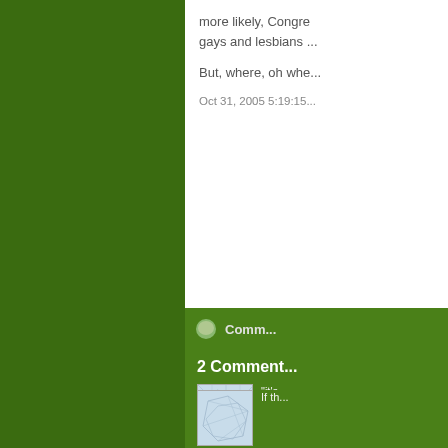more likely, Congre... gays and lesbians...
But, where, oh whe...
Oct 31, 2005 5:19:15...
Comm...
2 Comment...
"it's... Uni... arra... can... red... i've... gov...
If th...